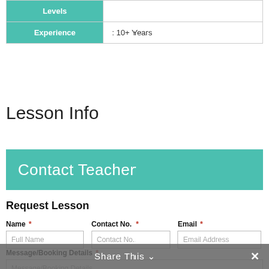| Levels |  |
| Experience | : 10+ Years |
Lesson Info
Contact Teacher
Request Lesson
Name * | Contact No. * | Email *
Message/Booking Details *
Share This